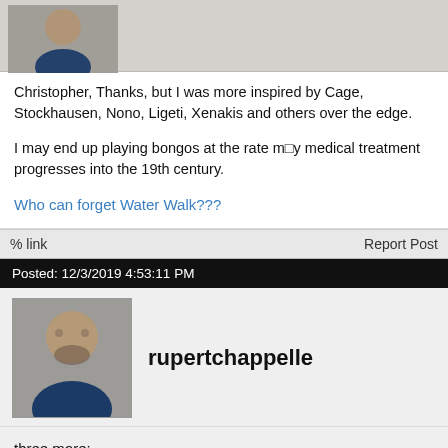[Figure (photo): Avatar photo of user - person in dark suit with blue tie]
Christopher, Thanks, but I was more inspired by Cage, Stockhausen, Nono, Ligeti, Xenakis and others over the edge.

I may end up playing bongos at the rate m□y medical treatment progresses into the 19th century.

Who can forget Water Walk???
% link    Report Post
Posted: 12/3/2019 4:53:11 PM
[Figure (photo): Avatar photo of rupertchappelle - bearded man in dark suit with blue tie]
rupertchappelle
three more:

https://youtu.be/e8PYMo2xnYc

https://youtu.be/tfAcClbP8ck

https://youtu.be/QVscv054lAI